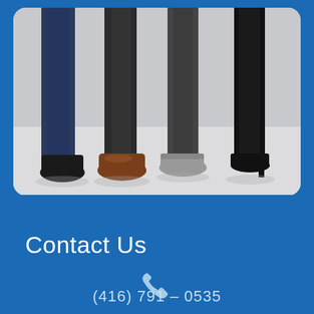[Figure (photo): Lower half of four people standing side by side wearing dress pants and shoes (black dress shoes, brown oxford shoes, grey sneakers, black heels) on a white/grey background]
Contact Us
(416) 791 – 0535